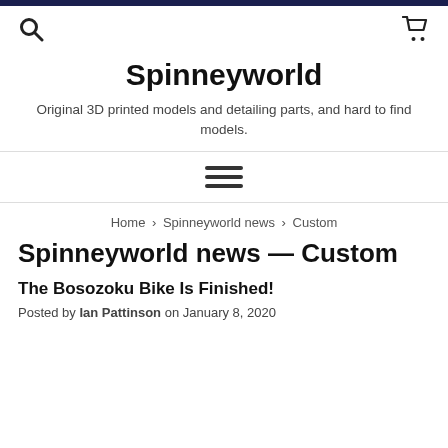Spinneyworld — Original 3D printed models and detailing parts, and hard to find models.
Spinneyworld
Original 3D printed models and detailing parts, and hard to find models.
[Figure (other): Hamburger menu icon (three horizontal lines)]
Home › Spinneyworld news › Custom
Spinneyworld news — Custom
The Bosozoku Bike Is Finished!
Posted by Ian Pattinson on January 8, 2020